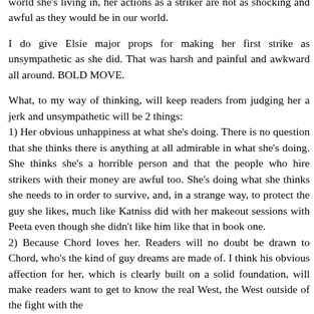world she's living in, her actions as a striker are not as shocking and awful as they would be in our world.
I do give Elsie major props for making her first strike as unsympathetic as she did. That was harsh and painful and awkward all around. BOLD MOVE.
What, to my way of thinking, will keep readers from judging her a jerk and unsympathetic will be 2 things:
1) Her obvious unhappiness at what she's doing. There is no question that she thinks there is anything at all admirable in what she's doing. She thinks she's a horrible person and that the people who hire strikers with their money are awful too. She's doing what she thinks she needs to in order to survive, and, in a strange way, to protect the guy she likes, much like Katniss did with her makeout sessions with Peeta even though she didn't like him like that in book one.
2) Because Chord loves her. Readers will no doubt be drawn to Chord, who's the kind of guy dreams are made of. I think his obvious affection for her, which is clearly built on a solid foundation, will make readers want to get to know the real West, the West outside of the fight with the